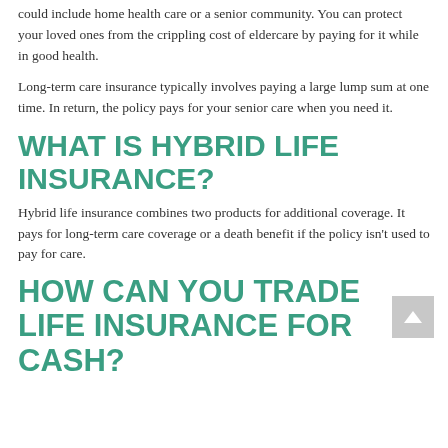could include home health care or a senior community. You can protect your loved ones from the crippling cost of eldercare by paying for it while in good health.
Long-term care insurance typically involves paying a large lump sum at one time. In return, the policy pays for your senior care when you need it.
WHAT IS HYBRID LIFE INSURANCE?
Hybrid life insurance combines two products for additional coverage. It pays for long-term care coverage or a death benefit if the policy isn't used to pay for care.
HOW CAN YOU TRADE LIFE INSURANCE FOR CASH?